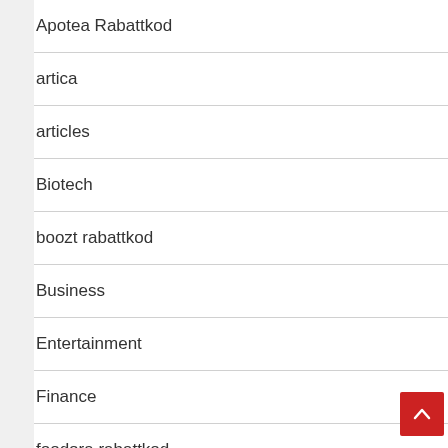Apotea Rabattkod
artica
articles
Biotech
boozt rabattkod
Business
Entertainment
Finance
foodora rabattkod